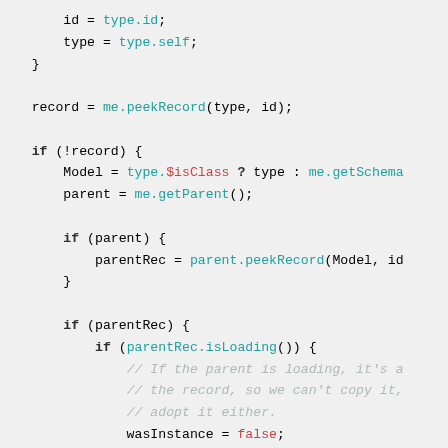Code snippet showing JavaScript record loading logic with peekRecord, getParent, isLoading, copy operations